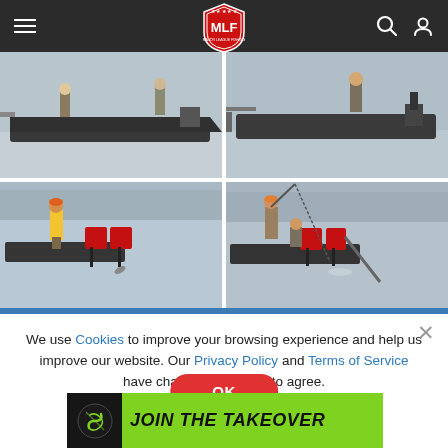[Figure (screenshot): MLF (Major League Fishing) website navigation bar with hamburger menu on left, MLF red shield logo in center, search and user icons on right, dark background]
[Figure (photo): Four-panel photo grid showing fishing tournament scenes on water: top-left shows two anglers on a dark bass boat, top-right shows an angler standing on the back of a boat, bottom-left shows an angler in yellow safety vest standing at back of boat with line in water, bottom-right shows angler fighting a fish with bent rod near the boat]
We use Cookies to improve your browsing experience and help us improve our website. Our Privacy Policy and Terms of Service have changed. Click OK to agree.
[Figure (screenshot): Red oval OK button for cookie consent]
[Figure (screenshot): Green advertisement banner reading JOIN THE TAKEOVER with black circular logo on left]